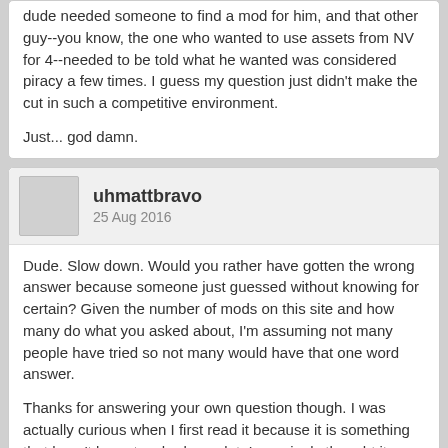dude needed someone to find a mod for him, and that other guy--you know, the one who wanted to use assets from NV for 4--needed to be told what he wanted was considered piracy a few times. I guess my question just didn't make the cut in such a competitive environment.

Just... god damn.
uhmattbravo
25 Aug 2016
Dude. Slow down. Would you rather have gotten the wrong answer because someone just guessed without knowing for certain? Given the number of mods on this site and how many do what you asked about, I'm assuming not many people have tried so not many would have that one word answer.

Thanks for answering your own question though. I was actually curious when I first read it because it is something that hasn't been touched on a lot. I genuinely thought it was a classy move till you started going off at people for 'ignoring' the question.
Ladez
25 Aug 2016